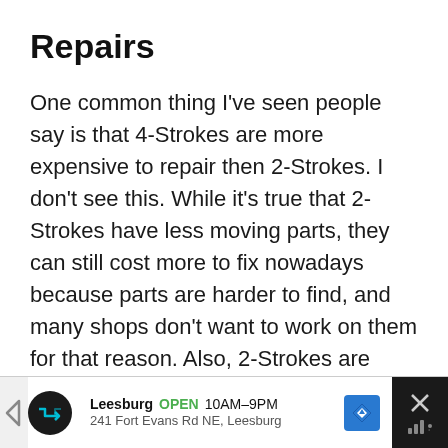Repairs
One common thing I've seen people say is that 4-Strokes are more expensive to repair then 2-Strokes. I don't see this. While it's true that 2-Strokes have less moving parts, they can still cost more to fix nowadays because parts are harder to find, and many shops don't want to work on them for that reason. Also, 2-Strokes are mostly old machines, and when you fix one thing, another thing breaks because the machine is old.
[Figure (other): Advertisement banner for Leesburg store showing logo, open status 10AM-9PM, address 241 Fort Evans Rd NE Leesburg, navigation icon, and close button]